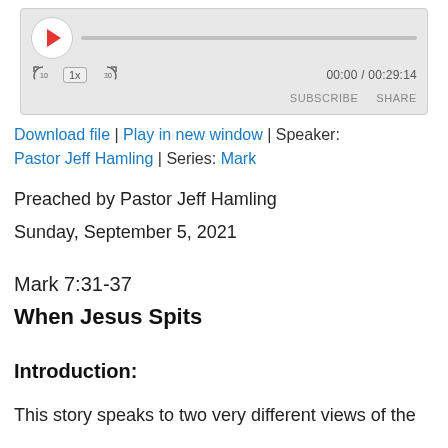[Figure (screenshot): Audio player widget with play button, skip back 10, speed 1x, skip forward 30, progress bar, time display 00:00 / 00:29:14, SUBSCRIBE and SHARE buttons]
Download file | Play in new window | Speaker: Pastor Jeff Hamling | Series: Mark
Preached by Pastor Jeff Hamling
Sunday, September 5, 2021
Mark 7:31-37
When Jesus Spits
Introduction:
This story speaks to two very different views of the